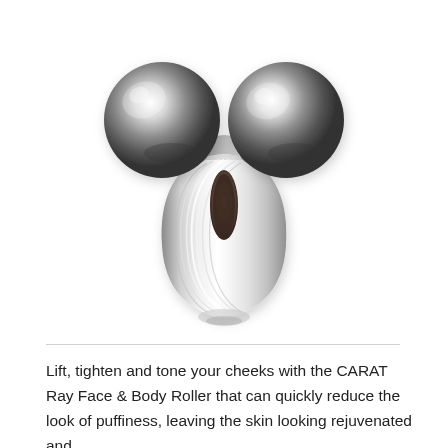[Figure (photo): A silver metallic CARAT Ray Face & Body Roller beauty tool with two large spherical roller balls at the top connected by a ridged elongated teardrop-shaped handle, photographed on a white background.]
Lift, tighten and tone your cheeks with the CARAT Ray Face & Body Roller that can quickly reduce the look of puffiness, leaving the skin looking rejuvenated and